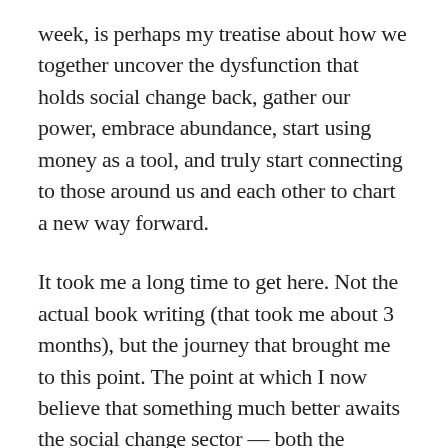week, is perhaps my treatise about how we together uncover the dysfunction that holds social change back, gather our power, embrace abundance, start using money as a tool, and truly start connecting to those around us and each other to chart a new way forward.
It took me a long time to get here. Not the actual book writing (that took me about 3 months), but the journey that brought me to this point. The point at which I now believe that something much better awaits the social change sector — both the nonprofit leaders with solutions to the challenges we face in our communities, our countries, our planet, and those who fund those solutions.